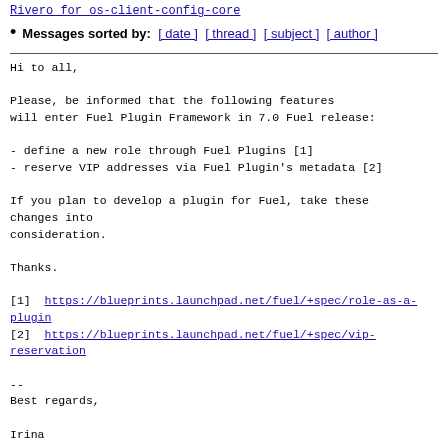Rivero for os-client-config-core
Messages sorted by: [ date ] [ thread ] [ subject ] [ author ]
Hi to all,

Please, be informed that the following features will enter Fuel Plugin Framework in 7.0 Fuel release:

- define a new role through Fuel Plugins [1]
- reserve VIP addresses via Fuel Plugin's metadata [2]

If you plan to develop a plugin for Fuel, take these changes into consideration.

Thanks.

[1]  https://blueprints.launchpad.net/fuel/+spec/role-as-a-plugin
[2]  https://blueprints.launchpad.net/fuel/+spec/vip-reservation

--
Best regards,

Irina

*Business Analyst*